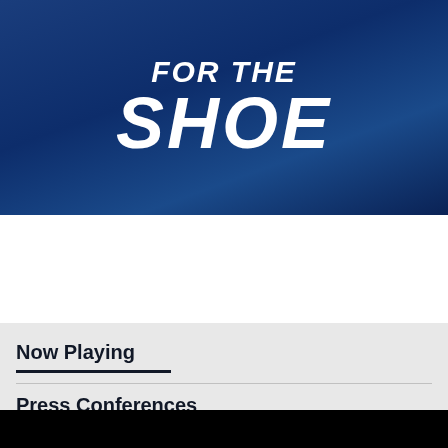[Figure (logo): Indianapolis Colts 'For The Shoe' hero banner with large bold white italic text on dark blue textured background]
TICKETS  SHOP  ≡
Home  Press Conferences  Interviews  Highlights  Mic'd  Direc...
Now Playing
Press Conferences
[Figure (screenshot): Dark black video thumbnail area at the bottom of the page]